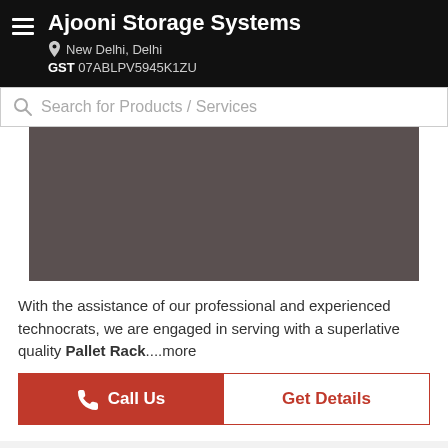Ajooni Storage Systems
New Delhi, Delhi
GST 07ABLPV5945K1ZU
Search for Products / Services
[Figure (photo): Product image placeholder — dark brownish-grey rectangle representing a pallet rack product photo]
With the assistance of our professional and experienced technocrats, we are engaged in serving with a superlative quality Pallet Rack....more
Call Us
Get Details
Selective Pallet Rack